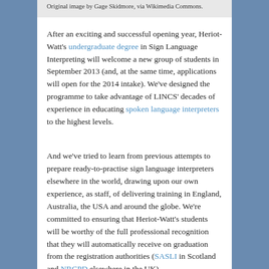Original image by Gage Skidmore, via Wikimedia Commons.
After an exciting and successful opening year, Heriot-Watt's undergraduate degree in Sign Language Interpreting will welcome a new group of students in September 2013 (and, at the same time, applications will open for the 2014 intake). We've designed the programme to take advantage of LINCS' decades of experience in educating spoken language interpreters to the highest levels.
And we've tried to learn from previous attempts to prepare ready-to-practise sign language interpreters elsewhere in the world, drawing upon our own experience, as staff, of delivering training in England, Australia, the USA and around the globe. We're committed to ensuring that Heriot-Watt's students will be worthy of the full professional recognition that they will automatically receive on graduation from the registration authorities (SASLI in Scotland and NRCPD elsewhere in the UK).